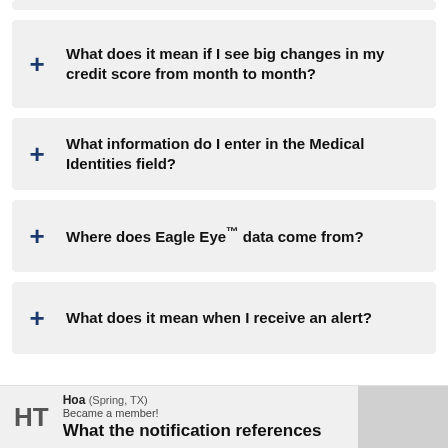What does it mean if I see big changes in my credit score from month to month?
What information do I enter in the Medical Identities field?
Where does Eagle Eye™ data come from?
What does it mean when I receive an alert?
HT Hoa (Spring, TX) Became a member! What the notification references nces